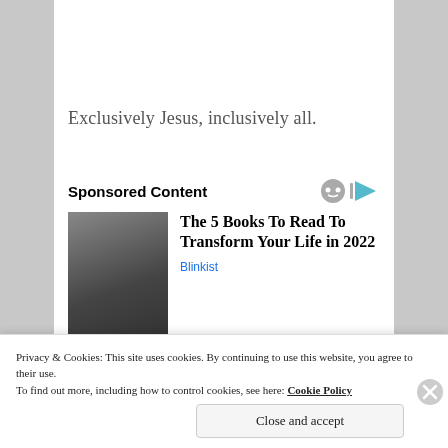Exclusively Jesus, inclusively all.
Sponsored Content
[Figure (photo): Black and white photo of a young man with long hair and round glasses]
The 5 Books To Read To Transform Your Life in 2022
Blinkist
Privacy & Cookies: This site uses cookies. By continuing to use this website, you agree to their use. To find out more, including how to control cookies, see here: Cookie Policy
Close and accept